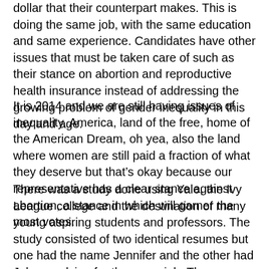dollar that their counterpart makes. This is doing the same job, with the same education and same experience. Candidates have other issues that must be taken care of such as their stance on abortion and reproductive health insurance instead of addressing the growing problem of gender inequality in this day and age.
It is 2014 and we are still having issues of inequality. America, land of the free, home of the American Dream, oh yea, also the land where women are still paid a fraction of what they deserve but that's okay because our representative has a clear stance against abortion, a stance in which will garner the most votes.
There was a study done using Yale, the Ivy League college and the destination of many young aspiring students and professors. The study consisted of two identical resumes but one had the name Jennifer and the other had John, applying for the same job. The one application with the name John was given a job offer 4000 dollars more than the application with the name Jennifer. Even Yale cannot escape this stigma with